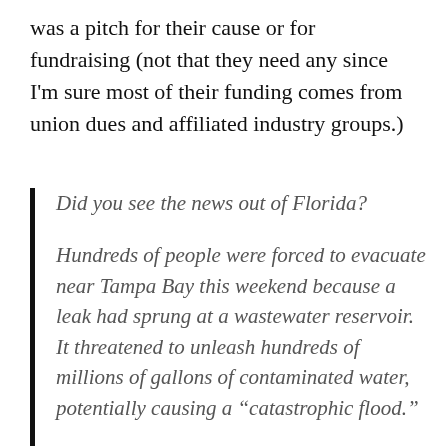was a pitch for their cause or for fundraising (not that they need any since I'm sure most of their funding comes from union dues and affiliated industry groups.)
Did you see the news out of Florida?
Hundreds of people were forced to evacuate near Tampa Bay this weekend because a leak had sprung at a wastewater reservoir. It threatened to unleash hundreds of millions of gallons of contaminated water, potentially causing a “catastrophic flood.”
Imagine having to evacuate your home